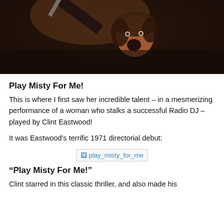[Figure (photo): A dramatic scene from a thriller film showing a woman screaming with a knife raised above her, dark moody lighting, brown/dark tones]
Play Misty For Me!
This is where I first saw her incredible talent – in a mesmerizing performance of a woman who stalks a successful Radio DJ – played by Clint Eastwood!
It was Eastwood's terrific 1971 directorial debut:
[Figure (photo): Broken image placeholder labeled play_misty_for_me]
“Play Misty For Me!”
Clint starred in this classic thriller, and also made his